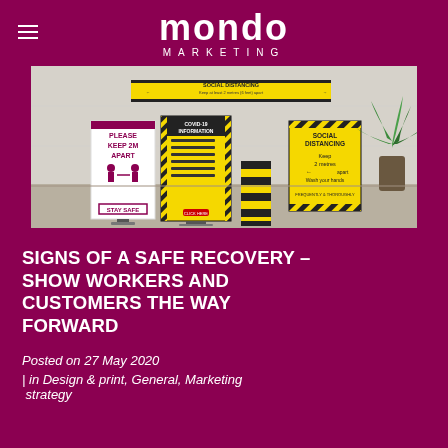mondo MARKETING
[Figure (photo): Social distancing signage display showing a room with various COVID-19 safety signs including a banner saying 'SOCIAL DISTANCING Keep at least 2 metres (6 feet) apart', a roll-up banner 'PLEASE KEEP 2M APART STAY SAFE', a yellow-black COVID-19 information pull-up banner, a yellow-black column wrap, and a 'SOCIAL DISTANCING Keep 2 metres apart' poster.]
SIGNS OF A SAFE RECOVERY – SHOW WORKERS AND CUSTOMERS THE WAY FORWARD
Posted on 27 May 2020
| in Design & print, General, Marketing strategy